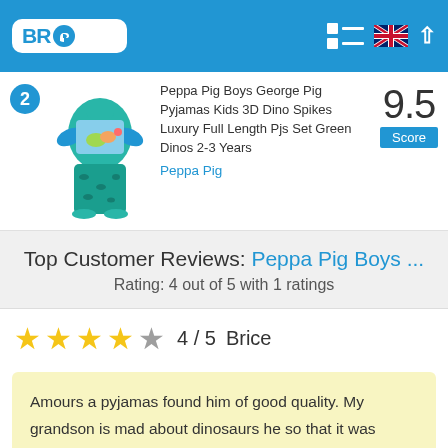BR Tips
[Figure (photo): Peppa Pig Boys George Pig green teal dinosaur pyjamas set product image]
Peppa Pig Boys George Pig Pyjamas Kids 3D Dino Spikes Luxury Full Length Pjs Set Green Dinos 2-3 Years
Peppa Pig
9.5 Score
Top Customer Reviews: Peppa Pig Boys ...
Rating: 4 out of 5 with 1 ratings
4 / 5   Brice
Amours a pyjamas found him of good quality. My grandson is mad about dinosaurs he so that it was happy with them